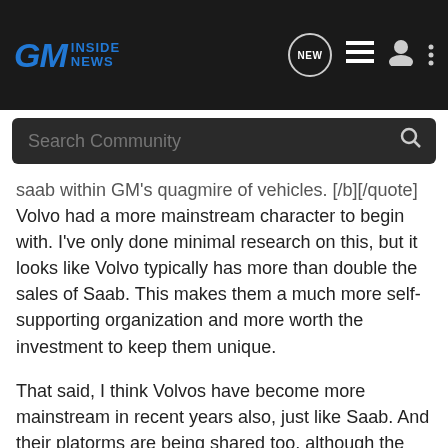GM Inside News
saab within GM's quagmire of vehicles. [/b][/quote]
Volvo had a more mainstream character to begin with. I've only done minimal research on this, but it looks like Volvo typically has more than double the sales of Saab. This makes them a much more self-supporting organization and more worth the investment to keep them unique.
That said, I think Volvos have become more mainstream in recent years also, just like Saab. And their platorms are being shared too, although the other way around - Ford is using Volvo platforms. Should GM build something on a Saab platform, or give Saab responsiblilty in designing a platform? Maybe. That would help them earn their keep, but they have less to offer there than Volvo.
They've done a good job differentiating the 9-3 from it's other